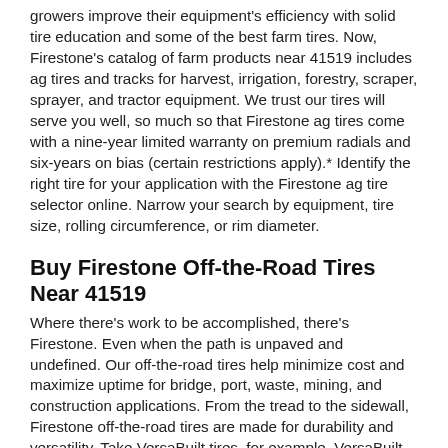growers improve their equipment's efficiency with solid tire education and some of the best farm tires. Now, Firestone's catalog of farm products near 41519 includes ag tires and tracks for harvest, irrigation, forestry, scraper, sprayer, and tractor equipment. We trust our tires will serve you well, so much so that Firestone ag tires come with a nine-year limited warranty on premium radials and six-years on bias (certain restrictions apply).* Identify the right tire for your application with the Firestone ag tire selector online. Narrow your search by equipment, tire size, rolling circumference, or rim diameter.
Buy Firestone Off-the-Road Tires Near 41519
Where there's work to be accomplished, there's Firestone. Even when the path is unpaved and undefined. Our off-the-road tires help minimize cost and maximize uptime for bridge, port, waste, mining, and construction applications. From the tread to the sidewall, Firestone off-the-road tires are made for durability and versatility. Take VersaBuilt tires, for example. VersaBuilt heavy-equipment tires will help you get the job done, no matter how harsh the conditions. SideArmor™ sidewalls and steel casings help safeguard against punctures and cuts while non-directional